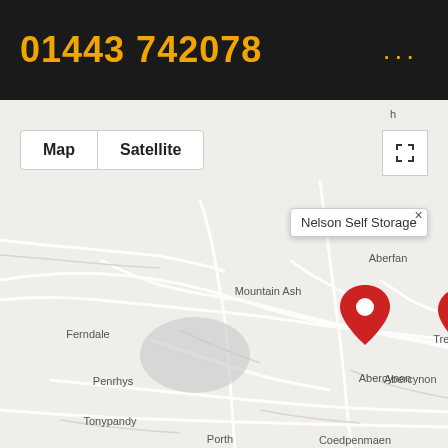01443 742078
[Figure (map): Google Maps view showing location pins for storage facilities in Wales, UK. Visible place names: Aberfan, Mountain Ash, Ferndale, Penrhys, Tonypandy, Porth, Coedpenmaen, Abercynon, Treharris, Nelson, Ystrad Mynach, Twyn-Shon-Ifan, Blackwood area. Four red map pins visible. Map controls show Map/Satellite toggle. Tooltip shows: Nelson Self Storage and Flayr De-Lys Self S... (truncated). Close button (x) visible on tooltip.]